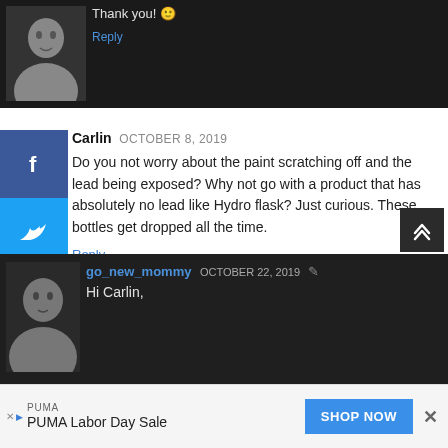Thank you! 🙂
Reply
Carlin OCTOBER 8, 2019
Do you not worry about the paint scratching off and the lead being exposed? Why not go with a product that has absolutely no lead like Hydro flask? Just curious. These bottles get dropped all the time.
Reply
go_new_mommy OCTOBER 22, 2019
Hi Carlin,
PUMA
PUMA Labor Day Sale
SHOP NOW